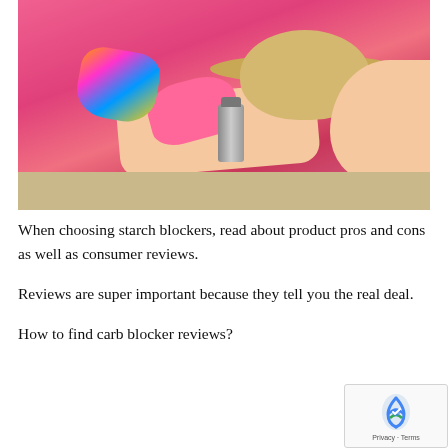[Figure (photo): Aerial view of a woman in a colorful bikini lying on a bright pink/magenta blanket or towel on a sandy beach, wearing a wide-brim straw hat covering her face, with a water bottle beside her.]
When choosing starch blockers, read about product pros and cons as well as consumer reviews.
Reviews are super important because they tell you the real deal.
How to find carb blocker reviews?